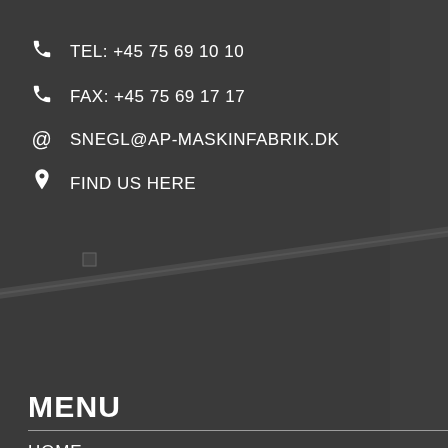[Figure (map): Dark-styled street map showing roads labeled Barrit Stationsvej, Vejlevej, and Barrit Hulevej with small square markers]
TEL: +45 75 69 10 10
FAX: +45 75 69 17 17
SNEGL@AP-MASKINFABRIK.DK
FIND US HERE
MENU
HOME
FLIGHTS
EARTH AUGERS
SCREW CONVEYORS
SUB-SUPPLIER SERVICES
CONTACT
DOWNLOADS